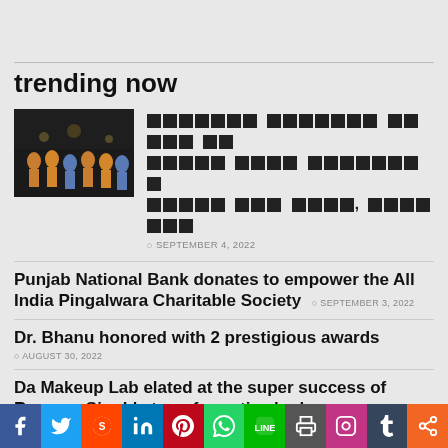trending now
[Figure (photo): Group photo of people, some in orange attire, outdoors at night]
[REDACTED HINDI TEXT] SEPTEMBER 4, 2022
Punjab National Bank donates to empower the All India Pingalwara Charitable Society  SEPTEMBER 3, 2022
Dr. Bhanu honored with 2 prestigious awards  AUGUST 30, 2022
Da Makeup Lab elated at the super success of Ranveer Singh's transformative looks  AUGUST 29, 2022